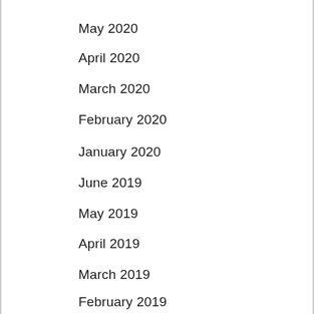May 2020
April 2020
March 2020
February 2020
January 2020
June 2019
May 2019
April 2019
March 2019
February 2019
January 2019